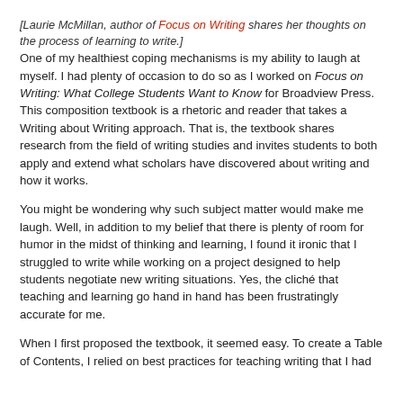[Laurie McMillan, author of Focus on Writing shares her thoughts on the process of learning to write.]
One of my healthiest coping mechanisms is my ability to laugh at myself. I had plenty of occasion to do so as I worked on Focus on Writing: What College Students Want to Know for Broadview Press. This composition textbook is a rhetoric and reader that takes a Writing about Writing approach. That is, the textbook shares research from the field of writing studies and invites students to both apply and extend what scholars have discovered about writing and how it works.
You might be wondering why such subject matter would make me laugh. Well, in addition to my belief that there is plenty of room for humor in the midst of thinking and learning, I found it ironic that I struggled to write while working on a project designed to help students negotiate new writing situations. Yes, the cliché that teaching and learning go hand in hand has been frustratingly accurate for me.
When I first proposed the textbook, it seemed easy. To create a Table of Contents, I relied on best practices for teaching writing that I had